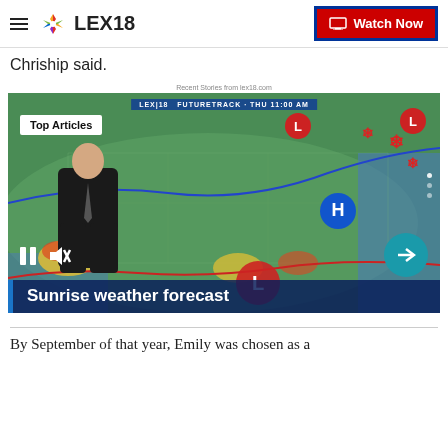LEX18 | Watch Now
Chriship said.
Recent Stories from lex18.com
[Figure (screenshot): LEX18 weather broadcast screenshot showing a meteorologist in front of a weather map with 'Top Articles' overlay and 'Sunrise weather forecast' chyron at bottom. Controls include pause and mute buttons.]
By September of that year, Emily was chosen as a